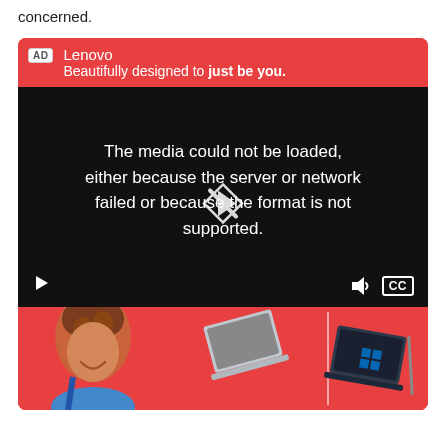concerned.
[Figure (screenshot): Lenovo advertisement card with red header showing 'AD' badge, brand name 'Lenovo', tagline 'Beautifully designed to just be you.' followed by a video player with black background showing media error message 'The media could not be loaded, either because the server or network failed or because the format is not supported.' with play button overlay and video controls (play button, volume icon, CC button). Below the video is a red section showing a person with curly hair smiling and laptop product images.]